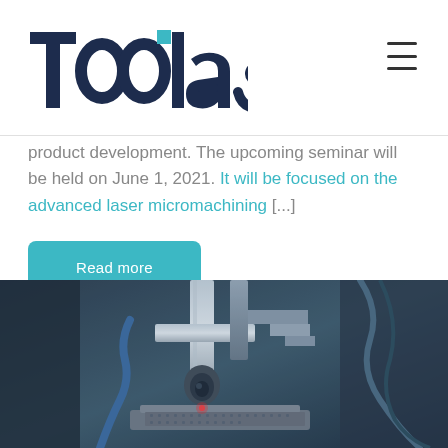[Figure (logo): Toolas company logo with dark blue stylized text and small cyan square accent]
product development. The upcoming seminar will be held on June 1, 2021. It will be focused on the advanced laser micromachining [...]
Read more
[Figure (photo): Close-up photograph of laser micromachining industrial equipment with metal components, cables, and precision machining head on a platform]